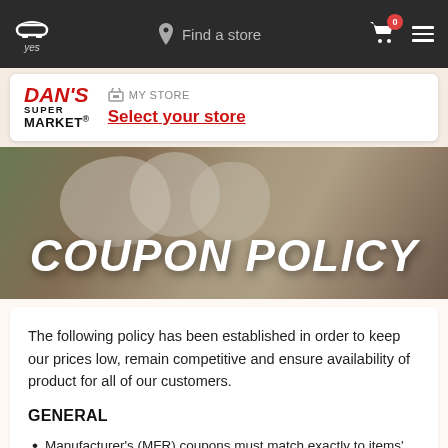yes  Find a store  0
[Figure (logo): Dan's SuperMarket logo with store selector showing MY STORE and Select your store link]
[Figure (photo): Hero banner with food/cheese/produce background and COUPON POLICY title overlay]
COUPON POLICY
The following policy has been established in order to keep our prices low, remain competitive and ensure availability of product for all of our customers.
GENERAL
Manufacturer's (MFR) coupons must match exactly to items' specifications: size, variety, flavor, # of units, etc. We accept only one MFR coupon per purchased